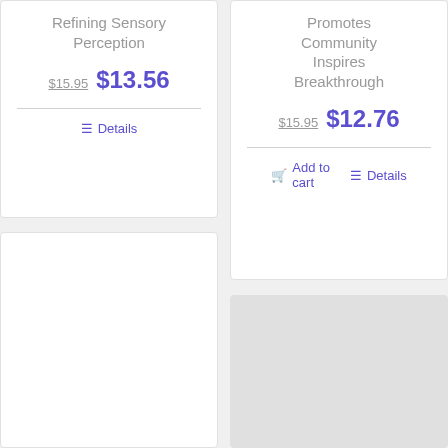Refining Sensory Perception
$15.95  $13.56
Details
Promotes Community Inspires Breakthrough
$15.95  $12.76
Add to cart  Details